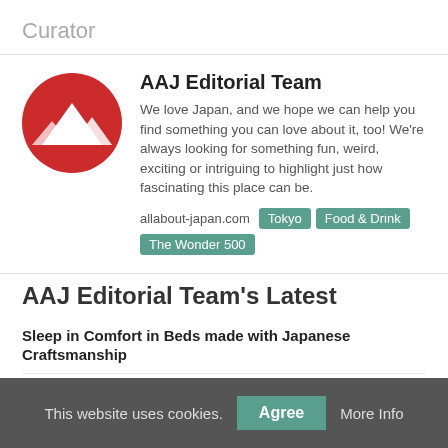Curator
[Figure (logo): AAJ Editorial Team logo: red circle with white mountain silhouette]
AAJ Editorial Team
We love Japan, and we hope we can help you find something you can love about it, too! We're always looking for something fun, weird, exciting or intriguing to highlight just how fascinating this place can be.
allabout-japan.com  Tokyo  Food & Drink  The Wonder 500
AAJ Editorial Team's Latest
Sleep in Comfort in Beds made with Japanese Craftsmanship
Travel by Train to Superb Sakura Viewing Spots
Sustaina-Week: Seeking a Better Future
This website uses cookies.  Agree  More Info